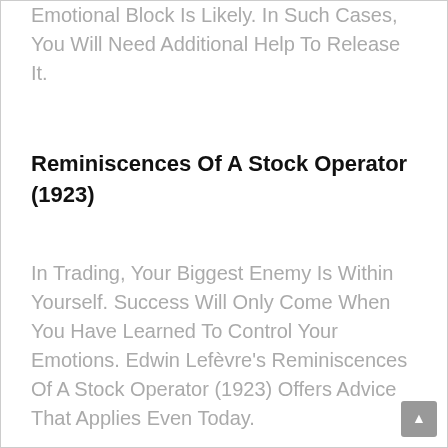Emotional Block Is Likely. In Such Cases, You Will Need Additional Help To Release It.
Reminiscences Of A Stock Operator (1923)
In Trading, Your Biggest Enemy Is Within Yourself. Success Will Only Come When You Have Learned To Control Your Emotions. Edwin Lefèvre's Reminiscences Of A Stock Operator (1923) Offers Advice That Applies Even Today.